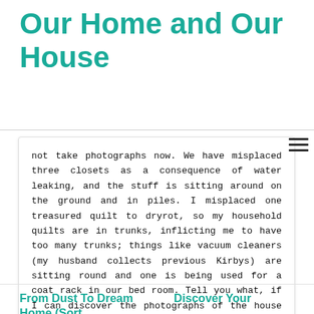Our Home and Our House
not take photographs now. We have misplaced three closets as a consequence of water leaking, and the stuff is sitting around on the ground and in piles. I misplaced one treasured quilt to dryrot, so my household quilts are in trunks, inflicting me to have too many trunks; things like vacuum cleaners (my husband collects previous Kirbys) are sitting round and one is being used for a coat rack in our bed room. Tell you what, if I can discover the photographs of the house earlier than all this tragedy occurred and scan them in, I will show them. How’s that for a plan? Thanks for asking.
From Dust To Dream Home (Sort
Discover Your